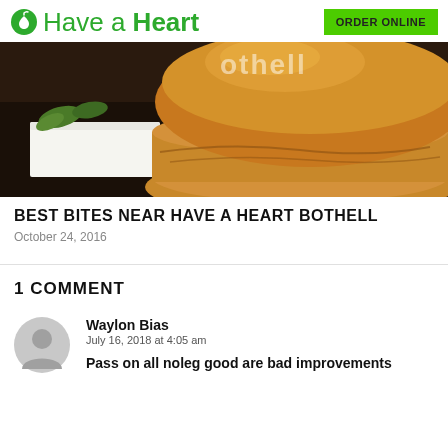Have a Heart — ORDER ONLINE
[Figure (photo): Close-up food photo showing a golden-brown bread roll/bun and a white block of cheese on a dark slate surface, with green herbs visible in the background. Partial text overlay reads something ending in letters.]
BEST BITES NEAR HAVE A HEART BOTHELL
October 24, 2016
1 COMMENT
Waylon Bias
July 16, 2018 at 4:05 am
Pass on all noleg good are bad improvements